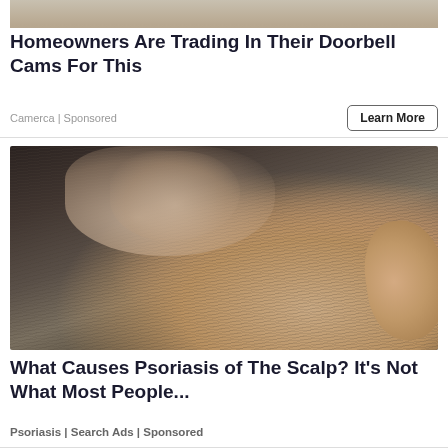[Figure (photo): Partial top of first ad image — cropped photo showing blurred background object]
Homeowners Are Trading In Their Doorbell Cams For This
Camerca | Sponsored
Learn More
[Figure (photo): Close-up photo of a person's scalp with grey/dark hair, fingers touching the back of the head near the ear, showing a skin condition on the scalp]
What Causes Psoriasis of The Scalp? It's Not What Most People...
Psoriasis | Search Ads | Sponsored